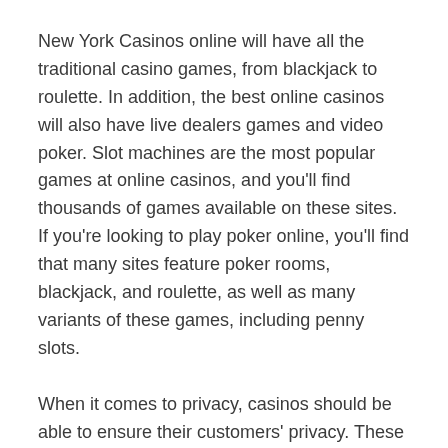New York Casinos online will have all the traditional casino games, from blackjack to roulette. In addition, the best online casinos will also have live dealers games and video poker. Slot machines are the most popular games at online casinos, and you'll find thousands of games available on these sites. If you're looking to play poker online, you'll find that many sites feature poker rooms, blackjack, and roulette, as well as many variants of these games, including penny slots.
When it comes to privacy, casinos should be able to ensure their customers' privacy. These websites must protect your personal information and not share it with third parties. By implementing encryption techniques, online casinos can keep your information safe from misuse. Moreover, they must have a strict privacy policy to prevent spamming and selling of personal information. Most operators use advanced security software to ensure that all data is properly encrypted. Most online casinos use SSL-encrypted networks